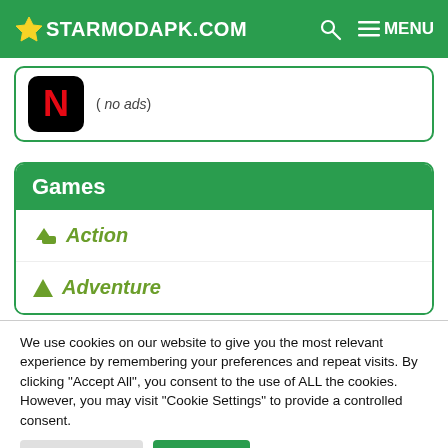STARMODAPK.COM — MENU
( no ads)
Games
Action
Adventure
We use cookies on our website to give you the most relevant experience by remembering your preferences and repeat visits. By clicking "Accept All", you consent to the use of ALL the cookies. However, you may visit "Cookie Settings" to provide a controlled consent.
Cookie Settings | Accept All